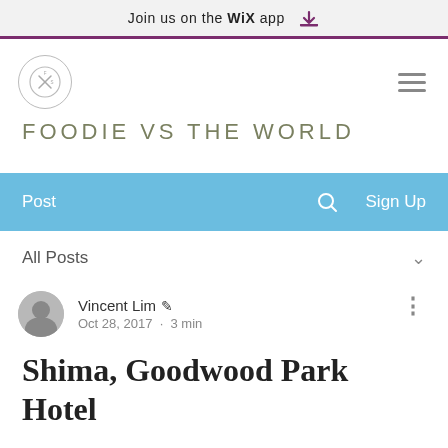Join us on the WiX app
[Figure (logo): Circular logo with crossed utensils/X symbol]
FOODIE VS THE WORLD
Post   Search   Sign Up
All Posts
Vincent Lim  Oct 28, 2017 · 3 min
Shima, Goodwood Park Hotel